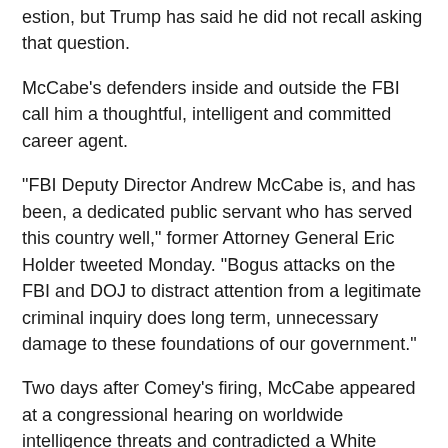estion, but Trump has said he did not recall asking that question.
McCabe's defenders inside and outside the FBI call him a thoughtful, intelligent and committed career agent.
"FBI Deputy Director Andrew McCabe is, and has been, a dedicated public servant who has served this country well," former Attorney General Eric Holder tweeted Monday. "Bogus attacks on the FBI and DOJ to distract attention from a legitimate criminal inquiry does long term, unnecessary damage to these foundations of our government."
Two days after Comey's firing, McCabe appeared at a congressional hearing on worldwide intelligence threats and contradicted a White House assertion that Comey had lost the support of the FBI's rank-and-file.